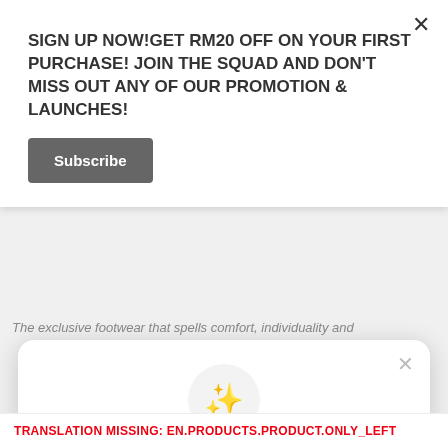SIGN UP NOW!GET RM20 OFF ON YOUR FIRST PURCHASE! JOIN THE SQUAD AND DON'T MISS OUT ANY OF OUR PROMOTION & LAUNCHES!
Subscribe
The exclusive footwear that spells comfort, individuality and
Unlock exclusive rewards and perks
Sign up or Log in
Sign up
Already have an account? Sign in
TRANSLATION MISSING: EN.PRODUCTS.PRODUCT.ONLY_LEFT